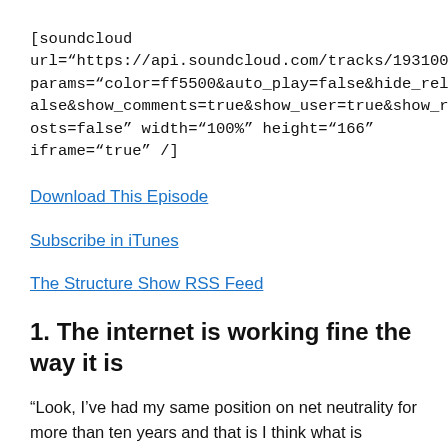[soundcloud url="https://api.soundcloud.com/tracks/193100656" params="color=ff5500&auto_play=false&hide_related=false&show_comments=true&show_user=true&show_reposts=false" width="100%" height="166" iframe="true" /]
Download This Episode
Subscribe in iTunes
The Structure Show RSS Feed
1. The internet is working fine the way it is
“Look, I’ve had my same position on net neutrality for more than ten years and that is I think what is happening on the net works. I mean, I was involved in the internet